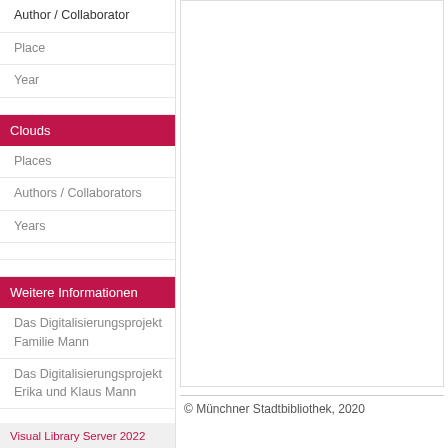Author / Collaborator
Place
Year
Clouds
Places
Authors / Collaborators
Years
Weitere Informationen
Das Digitalisierungsprojekt Familie Mann
Das Digitalisierungsprojekt Erika und Klaus Mann
© Münchner Stadtbibliothek, 2020
Visual Library Server 2022